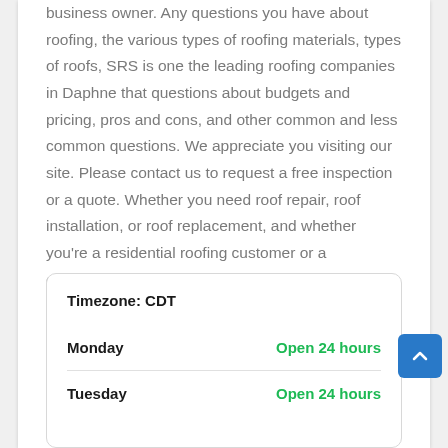business owner. Any questions you have about roofing, the various types of roofing materials, types of roofs, SRS is one the leading roofing companies in Daphne that questions about budgets and pricing, pros and cons, and other common and less common questions. We appreciate you visiting our site. Please contact us to request a free inspection or a quote. Whether you need roof repair, roof installation, or roof replacement, and whether you're a residential roofing customer or a commercial roofing customer, we can help. The reviews for Daphne roofing speak for themselves.
|  |  |
| --- | --- |
| Timezone: CDT |  |
| Monday | Open 24 hours |
| Tuesday | Open 24 hours |